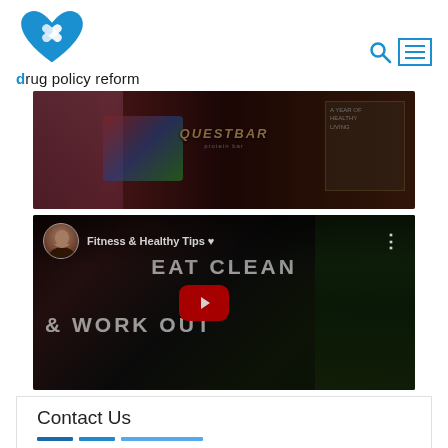drug policy reform
[Figure (photo): Dark background photo showing fitness/nutrition items including a QuestBar protein bar and magazine]
[Figure (screenshot): YouTube video embed showing 'Fitness & Healthy Tips' channel with 'EAT CLEAN & WORK OUT' text overlay and YouTube play button]
Contact Us